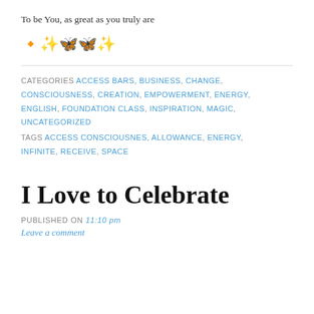To be You, as great as you truly are
🔸✨🦋🦋✨
CATEGORIES ACCESS BARS, BUSINESS, CHANGE, CONSCIOUSNESS, CREATION, EMPOWERMENT, ENERGY, ENGLISH, FOUNDATION CLASS, INSPIRATION, MAGIC, UNCATEGORIZED
TAGS ACCESS CONSCIOUSNES, ALLOWANCE, ENERGY, INFINITE, RECEIVE, SPACE
I Love to Celebrate
PUBLISHED ON 11:10 pm
Leave a comment